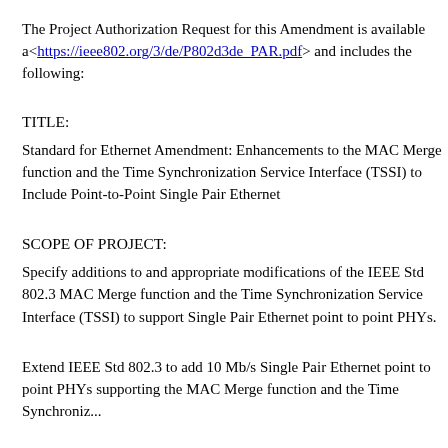The Project Authorization Request for this Amendment is available at <https://ieee802.org/3/de/P802d3de_PAR.pdf> and includes the following:
TITLE:
Standard for Ethernet Amendment: Enhancements to the MAC Merge function and the Time Synchronization Service Interface (TSSI) to Include Point-to-Point Single Pair Ethernet
SCOPE OF PROJECT:
Specify additions to and appropriate modifications of the IEEE Std 802.3 MAC Merge function and the Time Synchronization Service Interface (TSSI) to support Single Pair Ethernet point to point PHYs.
Extend IEEE Std 802.3 to add 10 Mb/s Single Pair Ethernet point to point PHYs supporting the MAC Merge function and the Time Synchronization Service Interface (TSSI)...